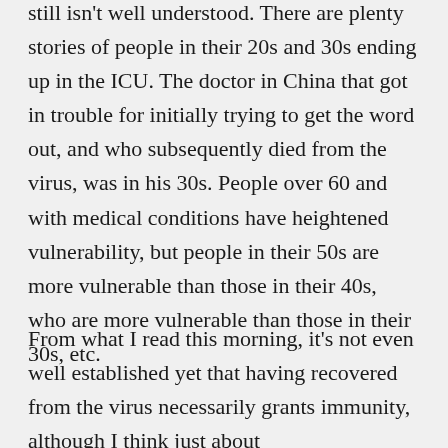still isn't well understood. There are plenty stories of people in their 20s and 30s ending up in the ICU. The doctor in China that got in trouble for initially trying to get the word out, and who subsequently died from the virus, was in his 30s. People over 60 and with medical conditions have heightened vulnerability, but people in their 50s are more vulnerable than those in their 40s, who are more vulnerable than those in their 30s, etc.
From what I read this morning, it's not even well established yet that having recovered from the virus necessarily grants immunity, although I think just about